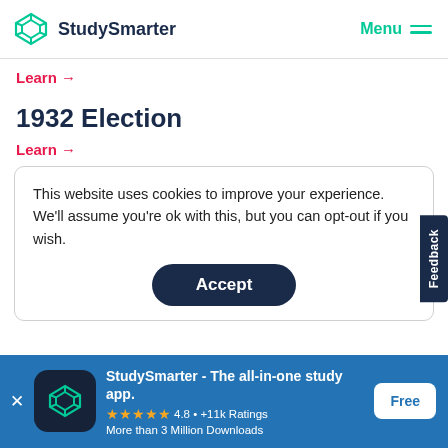StudySmarter  Menu
Learn →
1932 Election
Learn →
This website uses cookies to improve your experience. We'll assume you're ok with this, but you can opt-out if you wish.
Accept
StudySmarter - The all-in-one study app. ★★★★★ 4.8 • +11k Ratings More than 3 Million Downloads Free